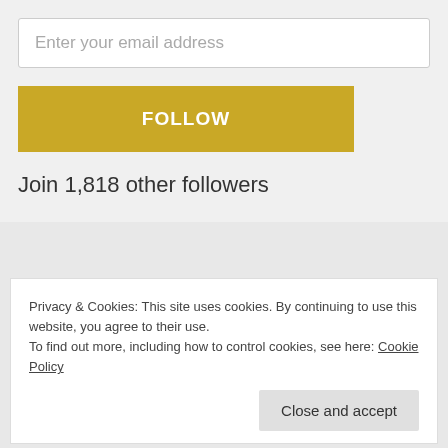Enter your email address
FOLLOW
Join 1,818 other followers
Privacy & Cookies: This site uses cookies. By continuing to use this website, you agree to their use.
To find out more, including how to control cookies, see here: Cookie Policy
Close and accept
New Zealand, cultural